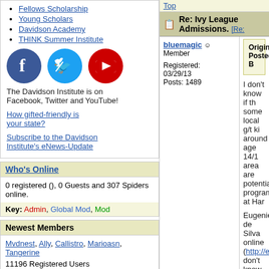Fellows Scholarship
Young Scholars
Davidson Academy
THINK Summer Institute
[Figure (logo): Facebook, Twitter, and YouTube social media icons]
The Davidson Institute is on Facebook, Twitter and YouTube!
How gifted-friendly is your state?
Subscribe to the Davidson Institute's eNews-Update
Who's Online
0 registered (), 0 Guests and 307 Spiders online.
Key: Admin, Global Mod, Mod
Newest Members
Mvdnest, Ally, Callistro, Marioasn, Tangerine
11196 Registered Users
Top
Re: Ivy League Admissions. [Re:
bluemagic Member Registered: 03/29/13 Posts: 1489
Originally Posted B
I don't know if th some local g/t ki around age 14/1 area are potentia program, at Har
Eugenie de Silva online (http://eu don't know how enrolled now in a online too.
Yes, Harvard Ex However, it migh are searching fo needing a more many of the facu teach at Harvar tuition too.
While I do know peop good way to go. And t they should...